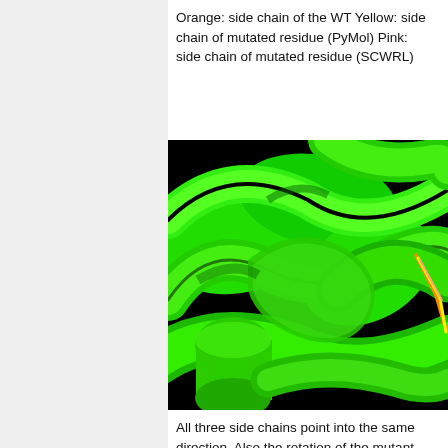Orange: side chain of the WT Yellow: side chain of mutated residue (PyMol) Pink: side chain of mutated residue (SCWRL)
[Figure (illustration): 3D protein structure rendered in PyMol showing green ribbon/helix structure with orange and yellow/pink side chain sticks visible at the right side, on a black background.]
All three side chains point into the same direction. Also the rotation of the mutant side